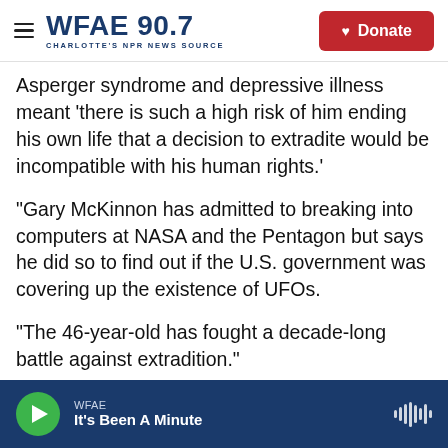WFAE 90.7 — Charlotte's NPR News Source | Donate
Asperger syndrome and depressive illness meant 'there is such a high risk of him ending his own life that a decision to extradite would be incompatible with his human rights.'
"Gary McKinnon has admitted to breaking into computers at NASA and the Pentagon but says he did so to find out if the U.S. government was covering up the existence of UFOs.
"The 46-year-old has fought a decade-long battle against extradition."
May added that now it is up British prosecutors to
WFAE — It's Been A Minute